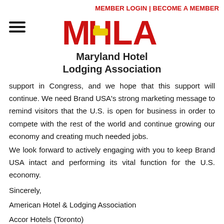MEMBER LOGIN | BECOME A MEMBER
[Figure (logo): MHLA Maryland Hotel Lodging Association logo with red text and hamburger menu icon]
support in Congress, and we hope that this support will continue. We need Brand USA's strong marketing message to remind visitors that the U.S. is open for business in order to compete with the rest of the world and continue growing our economy and creating much needed jobs.
We look forward to actively engaging with you to keep Brand USA intact and performing its vital function for the U.S. economy.
Sincerely,
American Hotel & Lodging Association
Accor Hotels (Toronto)
Alabama Restaurant & Hospitality Alliance